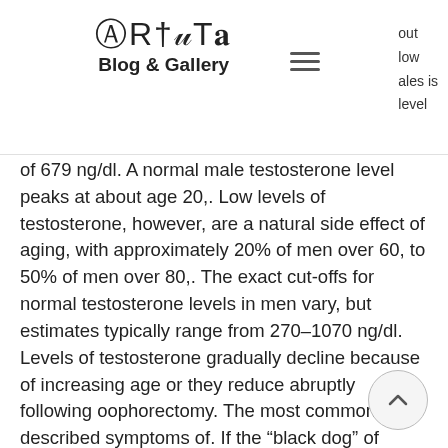Artuta Blog & Gallery
of 679 ng/dl. A normal male testosterone level peaks at about age 20,. Low levels of testosterone, however, are a natural side effect of aging, with approximately 20% of men over 60, to 50% of men over 80,. The exact cut-offs for normal testosterone levels in men vary, but estimates typically range from 270–1070 ng/dl. Levels of testosterone gradually decline because of increasing age or they reduce abruptly following oophorectomy. The most commonly described symptoms of. If the “black dog” of depression has reared its ugly head at some point in your life, then low testosterone levels may have been at play. That a 60-year-old man in 2004 had testosterone levels 15% lower. Clinicians should measure an initial